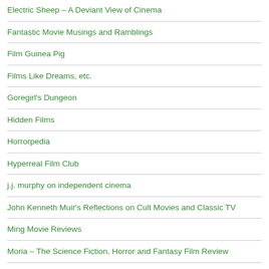Electric Sheep – A Deviant View of Cinema
Fantastic Movie Musings and Ramblings
Film Guinea Pig
Films Like Dreams, etc.
Goregirl's Dungeon
Hidden Films
Horrorpedia
Hyperreal Film Club
j.j. murphy on independent cinema
John Kenneth Muir's Reflections on Cult Movies and Classic TV
Ming Movie Reviews
Moria – The Science Fiction, Horror and Fantasy Film Review
Pretty Clever Films